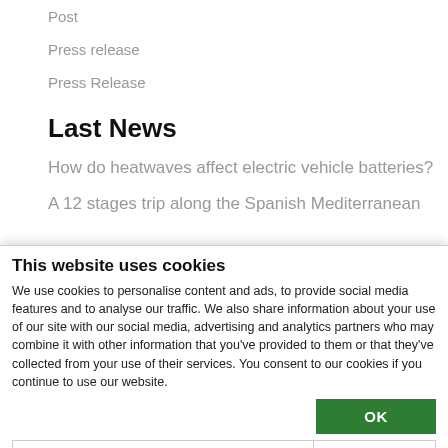Post
Press release
Press Release
Last News
How do heatwaves affect electric vehicle batteries?
A 12 stages trip along the Spanish Mediterranean
This website uses cookies
We use cookies to personalise content and ads, to provide social media features and to analyse our traffic. We also share information about your use of our site with our social media, advertising and analytics partners who may combine it with other information that you've provided to them or that they've collected from your use of their services. You consent to our cookies if you continue to use our website.
OK
Necessary  Preferences  Statistics  Marketing  Show details